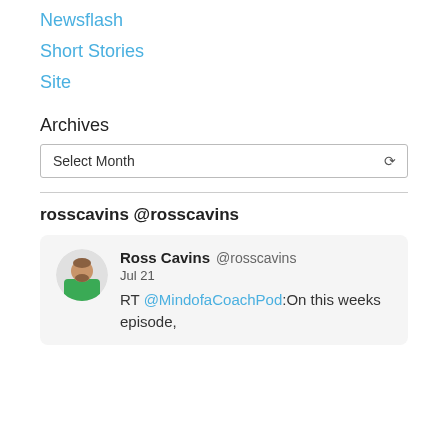Newsflash
Short Stories
Site
Archives
Select Month
rosscavins @rosscavins
[Figure (screenshot): Tweet card showing Ross Cavins (@rosscavins) profile picture (man in green shirt), name, handle, date Jul 21, and tweet text: RT @MindofaCoachPod:On this weeks episode,]